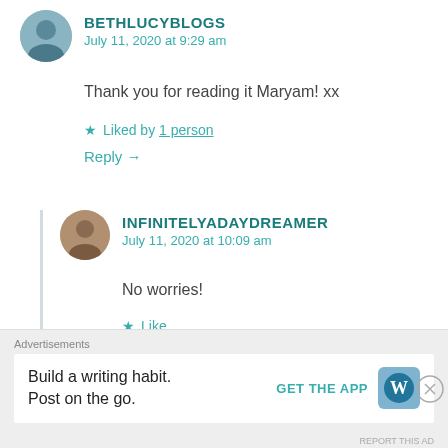BETHLUCYBLOGS
July 11, 2020 at 9:29 am
Thank you for reading it Maryam! xx
★ Liked by 1 person
Reply →
INFINITELYADAYDREAMER
July 11, 2020 at 10:09 am
No worries!
★ Like
Advertisements
Build a writing habit.
Post on the go.
GET THE APP